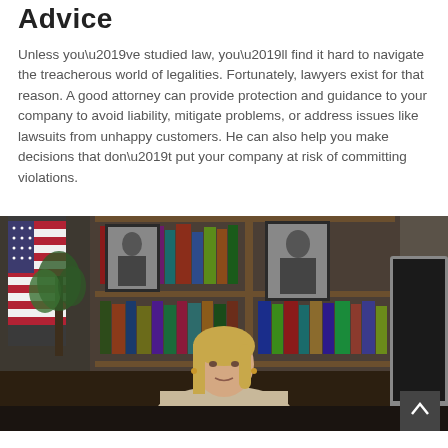Advice
Unless you’ve studied law, you’ll find it hard to navigate the treacherous world of legalities. Fortunately, lawyers exist for that reason. A good attorney can provide protection and guidance to your company to avoid liability, mitigate problems, or address issues like lawsuits from unhappy customers. He can also help you make decisions that don’t put your company at risk of committing violations.
[Figure (photo): A professional woman attorney seated at a desk in a law office. Behind her are bookshelves with legal books, framed black-and-white portraits, an American flag on the left, and a plant. A computer monitor is partially visible on the right.]